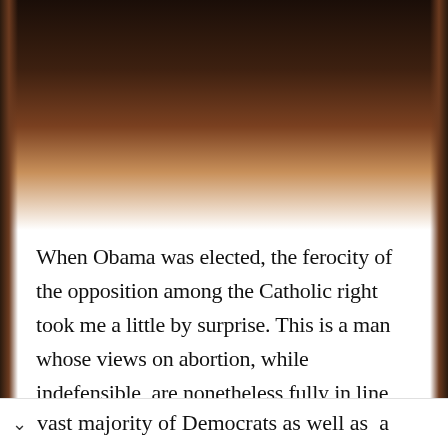[Figure (photo): Dark brown background at the top of the page, appearing to be a cropped photo with dark edges on left and right sides, suggesting a book or e-reader page turn effect.]
When Obama was elected, the ferocity of the opposition among the Catholic right took me a little by surprise. This is a man whose views on abortion, while indefensible, are nonetheless fully in line with Bill Clinton and vast majority of Democrats as well as a